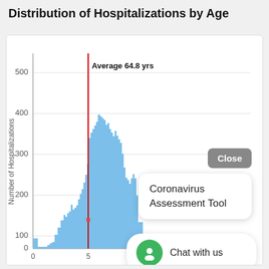Distribution of Hospitalizations by Age
[Figure (histogram): Histogram showing distribution of hospitalizations by age with a red vertical line marking average age of 64.8 years. Bars are blue. Peak hospitalizations are around age 65-75.]